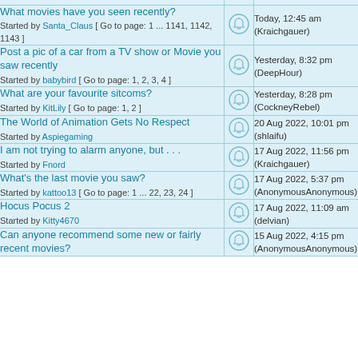What movies have you seen recently? Started by Santa_Claus [ Go to page: 1 ... 1141, 1142, 1143 ] — Today, 12:45 am (Kraichgauer)
Post a pic of a car from a TV show or Movie you saw recently — Started by babybird [ Go to page: 1, 2, 3, 4 ] — Yesterday, 8:32 pm (DeepHour)
What are your favourite sitcoms? Started by KitLily [ Go to page: 1, 2 ] — Yesterday, 8:28 pm (CockneyRebel)
The World of Animation Gets No Respect — Started by Aspiegaming — 20 Aug 2022, 10:01 pm (shlaifu)
I am not trying to alarm anyone, but . . . — Started by Fnord — 17 Aug 2022, 11:56 pm (Kraichgauer)
What's the last movie you saw? Started by kattoo13 [ Go to page: 1 ... 22, 23, 24 ] — 17 Aug 2022, 5:37 pm (AnonymousAnonymous)
Hocus Pocus 2 — Started by Kitty4670 — 17 Aug 2022, 11:09 am (delvian)
Can anyone recommend some new or fairly recent movies? — 15 Aug 2022, 4:15 pm (AnonymousAnonymous)